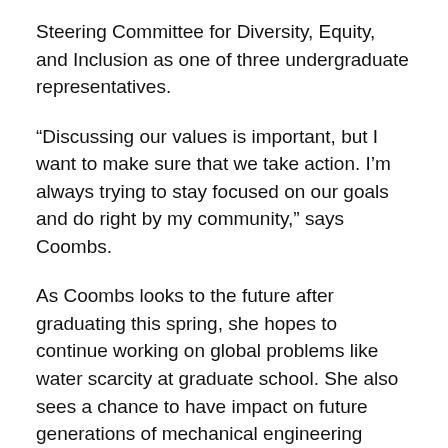Steering Committee for Diversity, Equity, and Inclusion as one of three undergraduate representatives.
“Discussing our values is important, but I want to make sure that we take action. I’m always trying to stay focused on our goals and do right by my community,” says Coombs.
As Coombs looks to the future after graduating this spring, she hopes to continue working on global problems like water scarcity at graduate school. She also sees a chance to have impact on future generations of mechanical engineering students.
“As a Black woman in STEM, I don’t have many role